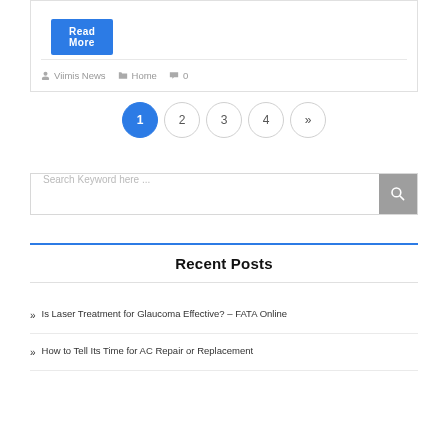Read More
Viimis News  Home  0
1  2  3  4  »
Search Keyword here ...
Recent Posts
» Is Laser Treatment for Glaucoma Effective? – FATA Online
» How to Tell Its Time for AC Repair or Replacement